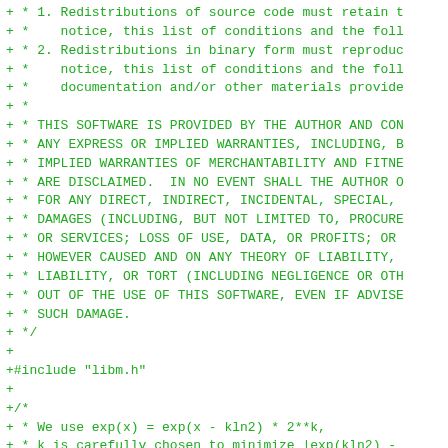+ * 1. Redistributions of source code must retain t
+ *    notice, this list of conditions and the foll
+ * 2. Redistributions in binary form must reproduc
+ *    notice, this list of conditions and the foll
+ *    documentation and/or other materials provide
+ *
+ * THIS SOFTWARE IS PROVIDED BY THE AUTHOR AND CON
+ * ANY EXPRESS OR IMPLIED WARRANTIES, INCLUDING, B
+ * IMPLIED WARRANTIES OF MERCHANTABILITY AND FITNE
+ * ARE DISCLAIMED.  IN NO EVENT SHALL THE AUTHOR O
+ * FOR ANY DIRECT, INDIRECT, INCIDENTAL, SPECIAL,
+ * DAMAGES (INCLUDING, BUT NOT LIMITED TO, PROCURE
+ * OR SERVICES; LOSS OF USE, DATA, OR PROFITS; OR
+ * HOWEVER CAUSED AND ON ANY THEORY OF LIABILITY,
+ * LIABILITY, OR TORT (INCLUDING NEGLIGENCE OR OTH
+ * OUT OF THE USE OF THIS SOFTWARE, EVEN IF ADVISE
+ * SUCH DAMAGE.
+ */
+
+#include "libm.h"
+
+/*
+ * We use exp(x) = exp(x - kln2) * 2**k,
+ * k is carefully chosen to minimize |exp(kln2) -
+ */
+static const uint32_t k = 235;
+static const float kln2 = 162.88958740f;
+
+/* expf(x)/2 when x is huge */
+float __expo2f(float x)